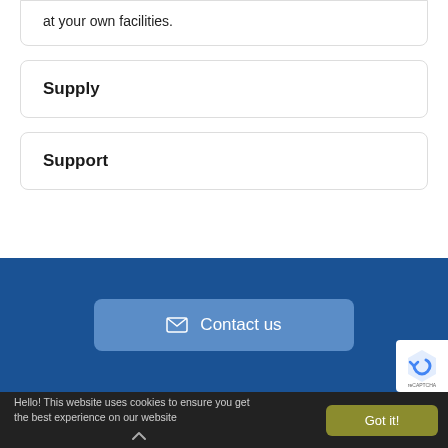at your own facilities.
Supply
Support
[Figure (screenshot): Blue contact us button with envelope icon]
Hello! This website uses cookies to ensure you get the best experience on our website
Got it!